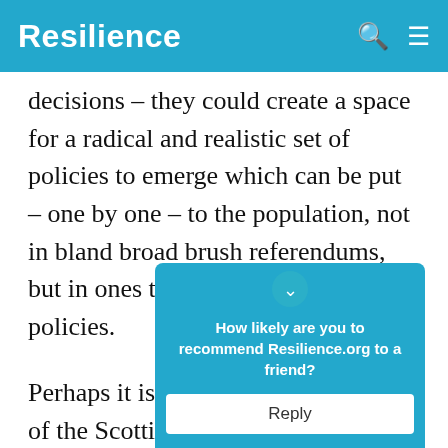Resilience
decisions – they could create a space for a radical and realistic set of policies to emerge which can be put – one by one – to the population, not in bland broad brush referendums, but in ones that focus on specific policies.
Perhaps it is time for the next phase of the Scottish [movement] from and nu[merous policies] it that insists [in] ans
[Figure (other): Survey popup overlay with teal background asking 'How likely are you to recommend Resilience.org to a friend?' with a Reply button]